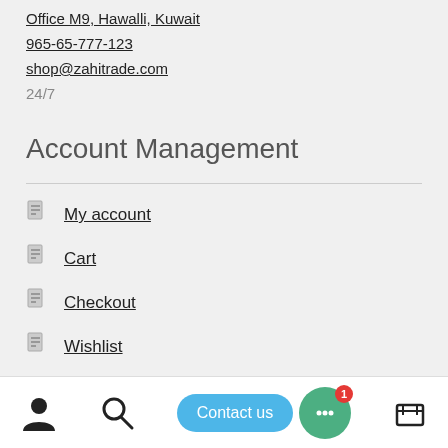Office M9, Hawalli, Kuwait
965-65-777-123
shop@zahitrade.com
24/7
Account Management
My account
Cart
Checkout
Wishlist